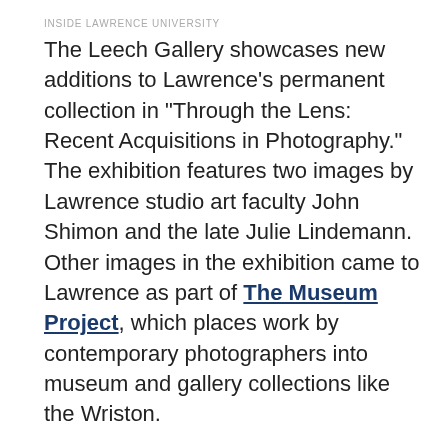INSIDE LAWRENCE UNIVERSITY
The Leech Gallery showcases new additions to Lawrence’s permanent collection in “Through the Lens: Recent Acquisitions in Photography.” The exhibition features two images by Lawrence studio art faculty John Shimon and the late Julie Lindemann. Other images in the exhibition came to Lawrence as part of The Museum Project, which places work by contemporary photographers into museum and gallery collections like the Wriston.
“Pulped Under Pressure,” which examines the art of handmade paper, will be featured in the Kohler Gallery. Incorporating a wide range of materials — junk mail, egg cartons, ripped denim